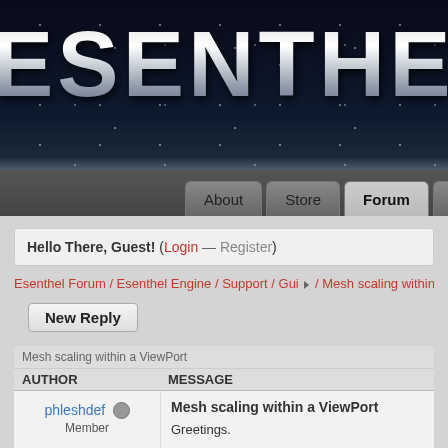[Figure (screenshot): Esenthel website header with dark space/starfield background and large metallic ESENTHEL logo text]
About | Store | Forum | Docu
Hello There, Guest! (Login — Register)
Esenthel Forum / Esenthel Engine / Support / Gui ▼ / Mesh scaling within a V
New Reply
| AUTHOR | MESSAGE |
| --- | --- |
| phleshdef Member | Mesh scaling within a ViewPort
Greetings.

I'm continuing my efforts to create an invento provide a sort of character preview in the inv example found here:

http://www.esenthel.com/community/showth |
Mesh scaling within a ViewPort